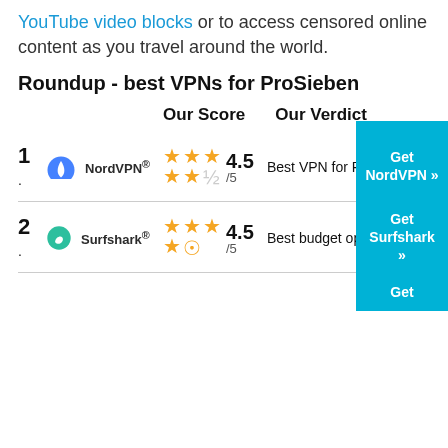YouTube video blocks or to access censored online content as you travel around the world.
Roundup - best VPNs for ProSieben
Our Score   Our Verdict
1. NordVPN — 4.5/5 — Best VPN for ProSieben — Get NordVPN »
2. Surfshark — 4.5/5 — Best budget option — Get Surfshark »
Get